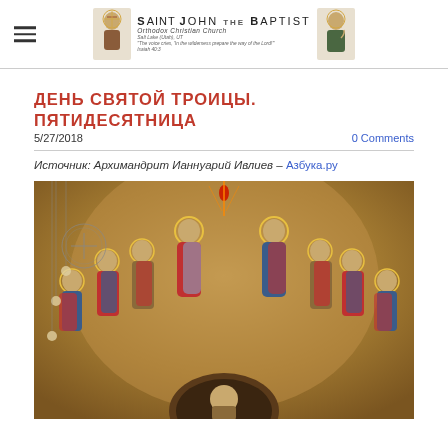Saint John the Baptist Orthodox Christian Church
День Святой Троицы. Пятидесятница
5/27/2018    0 Comments
Источник: Архимандрит Ианнуарий Ивлиев – Азбука.ру
[Figure (photo): Orthodox icon/mural depicting the Descent of the Holy Spirit (Pentecost) with apostles seated in a semicircle with halos, on a warm wooden background with a circular motif at bottom.]